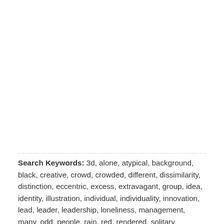Search Keywords: 3d, alone, atypical, background, black, creative, crowd, crowded, different, dissimilarity, distinction, eccentric, excess, extravagant, group, idea, identity, illustration, individual, individuality, innovation, lead, leader, leadership, loneliness, management, many, odd, people, rain, red, rendered, solitary, solitude, stand, umbrella, uncommon, unconventional, unique, unusual, PowerPoint Templates, ppt,